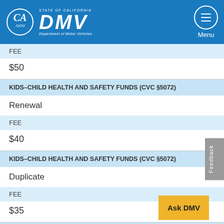STATE OF CALIFORNIA DMV — Department of Motor Vehicles
FEE
$50
KIDS–CHILD HEALTH AND SAFETY FUNDS (CVC §5072)
Renewal
FEE
$40
KIDS–CHILD HEALTH AND SAFETY FUNDS (CVC §5072)
Duplicate
FEE
$35
KIDS–CHILD HEALTH AND SAFETY FUNDS (C…